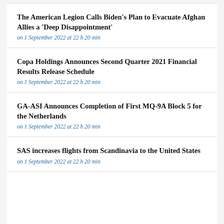The American Legion Calls Biden's Plan to Evacuate Afghan Allies a 'Deep Disappointment'
on 1 September 2022 at 22 h 20 min
Copa Holdings Announces Second Quarter 2021 Financial Results Release Schedule
on 1 September 2022 at 22 h 20 min
GA-ASI Announces Completion of First MQ-9A Block 5 for the Netherlands
on 1 September 2022 at 22 h 20 min
SAS increases flights from Scandinavia to the United States
on 1 September 2022 at 22 h 20 min